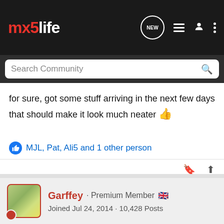mx5life - NEW [icons]
for sure, got some stuff arriving in the next few days that should make it look much neater 👍
MJL, Pat, Ali5 and 1 other person
Garffey · Premium Member 🇬🇧
Joined Jul 24, 2014 · 10,428 Posts
#23 · May 16, 2022
As the CD/Cassette unit is double din I'd buy one of the storage/shelf kits and fit a single din unit with usb....
Just keep the double din for posterity! ☺
Even cd's are a bit antiquated these days!